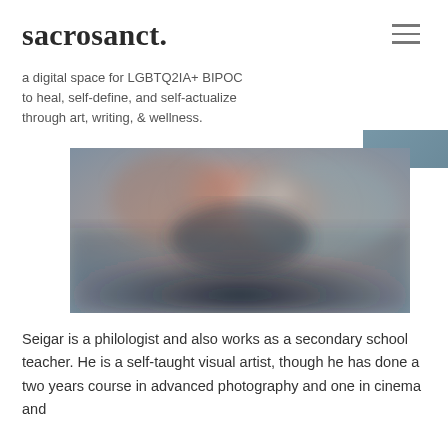sacrosanct.
a digital space for LGBTQ2IA+ BIPOC to heal, self-define, and self-actualize through art, writing, & wellness.
[Figure (photo): A blurred/soft-focus portrait photograph of a person, with warm and cool tones blending together in a moody, atmospheric style.]
Seigar is a philologist and also works as a secondary school teacher. He is a self-taught visual artist, though he has done a two years course in advanced photography and one in cinema and